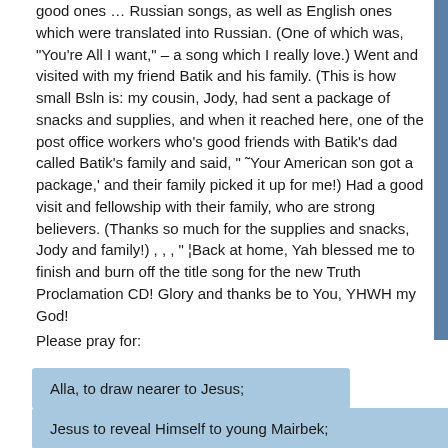good ones … Russian songs, as well as English ones which were translated into Russian. (One of which was, "You're All I want," – a song which I really love.) Went and visited with my friend Batik and his family. (This is how small Bsln is: my cousin, Jody, had sent a package of snacks and supplies, and when it reached here, one of the post office workers who's good friends with Batik's dad called Batik's family and said, " ~Your American son got a package,' and their family picked it up for me!) Had a good visit and fellowship with their family, who are strong believers. (Thanks so much for the supplies and snacks, Jody and family!) ,  ,  ,  " ¦Back at home, Yah blessed me to finish and burn off the title song for the new Truth Proclamation CD! Glory and thanks be to You, YHWH my God!
Please pray for:
Alla, to draw nearer to Jesus;
Jesus to reveal Himself to young Mairbek;